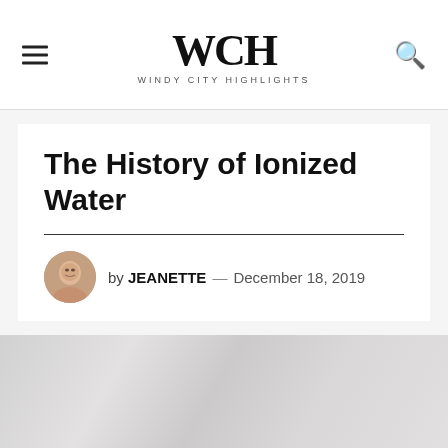WCH — Windy City Highlights
The History of Ionized Water
by JEANETTE — December 18, 2019
[Figure (photo): Featured article image, faded/light photograph placeholder]